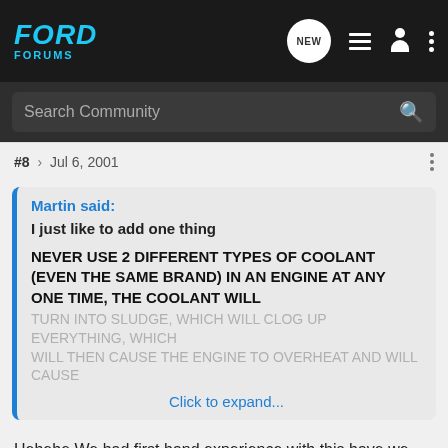FORD FORUMS
Search Community
#8 · Jul 6, 2001
Martin said:
I just like to add one thing

NEVER USE 2 DIFFERENT TYPES OF COOLANT (EVEN THE SAME BRAND) IN AN ENGINE AT ANY ONE TIME, THE COOLANT WILL TURN INTO SLUDGE, WHICH WILL CLOG UP EVERYTHING, WHICH WILL THEN CAUSE THE ENGINE TO OVERHEAT AND WILL CAUSE
Click to expand...
Hehehe We had first hand experience with this have we Martin?
You are right. Never seen it that bad but I have seen it turn to a gel